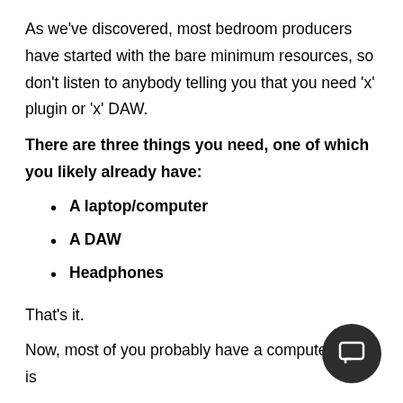As we've discovered, most bedroom producers have started with the bare minimum resources, so don't listen to anybody telling you that you need 'x' plugin or 'x' DAW.
There are three things you need, one of which you likely already have:
A laptop/computer
A DAW
Headphones
That's it.
Now, most of you probably have a computer that is